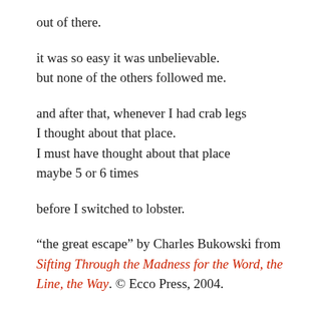out of there.
it was so easy it was unbelievable.
but none of the others followed me.
and after that, whenever I had crab legs
I thought about that place.
I must have thought about that place
maybe 5 or 6 times
before I switched to lobster.
“the great escape” by Charles Bukowski from Sifting Through the Madness for the Word, the Line, the Way. © Ecco Press, 2004.